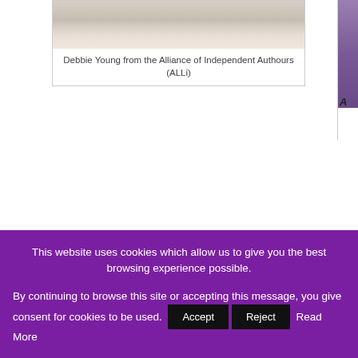[Figure (photo): Photo of a person with grey/white hair, partially cropped at top, showing seated figure]
Debbie Young from the Alliance of Independent Authours (ALLi)
[Figure (photo): Partial photo card on the right edge, showing a purple-toned image cropped, with letter 'A' visible]
This website uses cookies which allow us to give you the best browsing experience possible.
By continuing to browse this site or accepting this message, you give consent for cookies to be used.   Accept   Reject   Read More